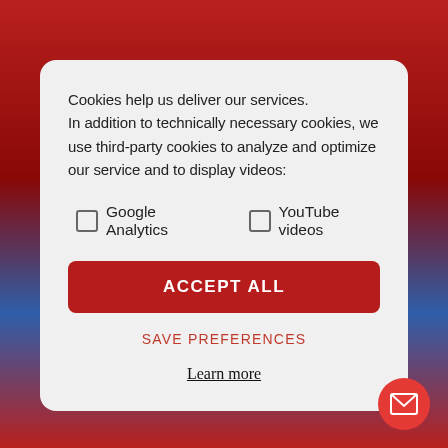Cookies help us deliver our services. In addition to technically necessary cookies, we use third-party cookies to analyze and optimize our service and to display videos:
Google Analytics
YouTube videos
ACCEPT ALL
SAVE PREFERENCES
Learn more